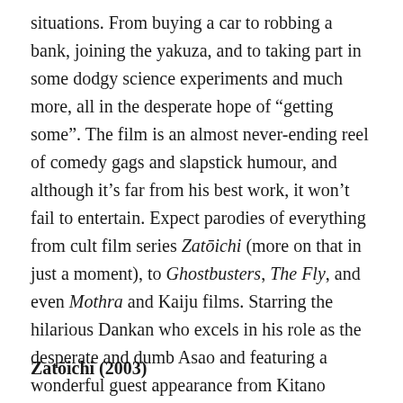situations. From buying a car to robbing a bank, joining the yakuza, and to taking part in some dodgy science experiments and much more, all in the desperate hope of “getting some”. The film is an almost never-ending reel of comedy gags and slapstick humour, and although it’s far from his best work, it won’t fail to entertain. Expect parodies of everything from cult film series Zatŋichi (more on that in just a moment), to Ghostbusters, The Fly, and even Mothra and Kaiju films. Starring the hilarious Dankan who excels in his role as the desperate and dumb Asao and featuring a wonderful guest appearance from Kitano himself, as well as many of Kitano’s regular actors, don’t come into this one expecting a deep meditation on human lust; just sit back and prepare to watch some seriously silly stuff.
Zatŋichi (2003)